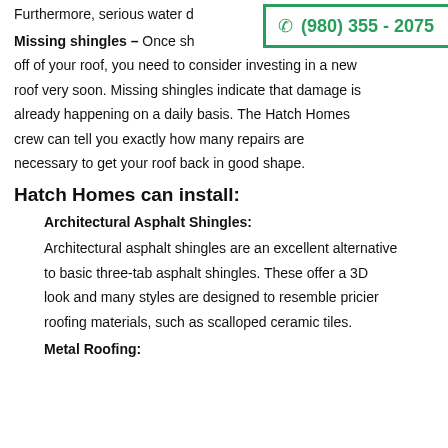Furthermore, serious water d...
[Figure (other): Phone number contact box with green border showing (980) 355 - 2075]
Missing shingles – Once shingles start falling off of your roof, you need to consider investing in a new roof very soon. Missing shingles indicate that damage is already happening on a daily basis. The Hatch Homes crew can tell you exactly how many repairs are necessary to get your roof back in good shape.
Hatch Homes can install:
Architectural Asphalt Shingles:
Architectural asphalt shingles are an excellent alternative to basic three-tab asphalt shingles. These offer a 3D look and many styles are designed to resemble pricier roofing materials, such as scalloped ceramic tiles.
Metal Roofing: